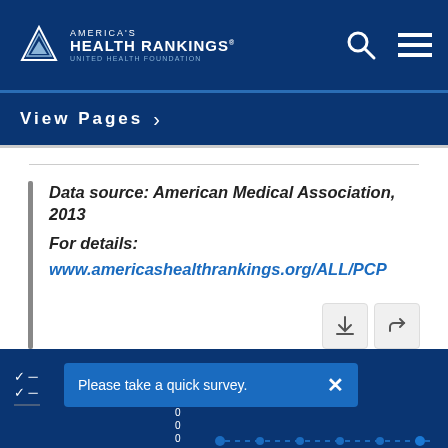America's Health Rankings - United Health Foundation
View Pages
Data source: American Medical Association, 2013
For details: www.americashealthrankings.org/ALL/PCP
Please take a quick survey.
8 / 71